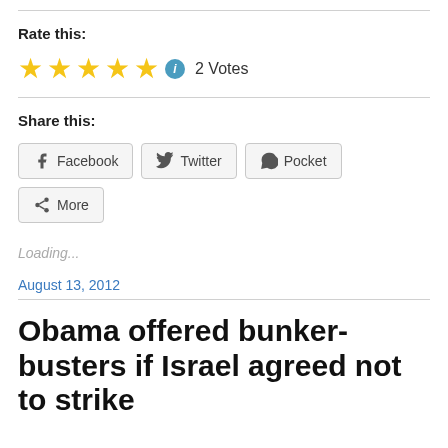Rate this:
★★★★★ ℹ 2 Votes
Share this:
Facebook  Twitter  Pocket  More
Loading...
August 13, 2012
Obama offered bunker-busters if Israel agreed not to strike